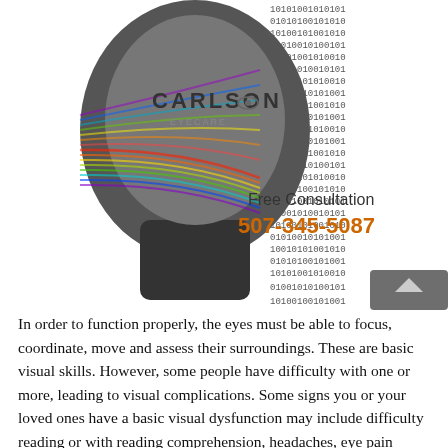[Figure (illustration): Carlson Eye Care logo/illustration showing a human head silhouette with rainbow-colored light rays entering the eye and binary code (0s and 1s) streaming outward to the right. Text overlay reads 'CARLSON' with an eye icon, 'Free Consultation', and phone number '507-345-5087' in orange.]
In order to function properly, the eyes must be able to focus, coordinate, move and assess their surroundings. These are basic visual skills. However, some people have difficulty with one or more, leading to visual complications. Some signs you or your loved ones have a basic visual dysfunction may include difficulty reading or with reading comprehension, headaches, eye pain and/or fatigue, double vision, poor performance of tasks, difficulty with